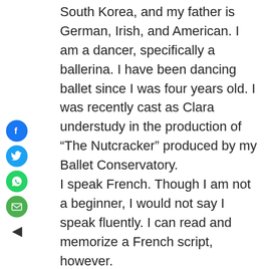[Figure (other): Vertical social sharing bar with Facebook (blue), Twitter (blue), WhatsApp (green), Email (green) circle icons, and a back arrow below]
South Korea, and my father is German, Irish, and American. I am a dancer, specifically a ballerina. I have been dancing ballet since I was four years old. I was recently cast as Clara understudy in the production of “The Nutcracker” produced by my Ballet Conservatory.
I speak French. Though I am not a beginner, I would not say I speak fluently. I can read and memorize a French script, however.
I am a relatively strong swimmer.
I ride horses, but I would be considered a beginner.